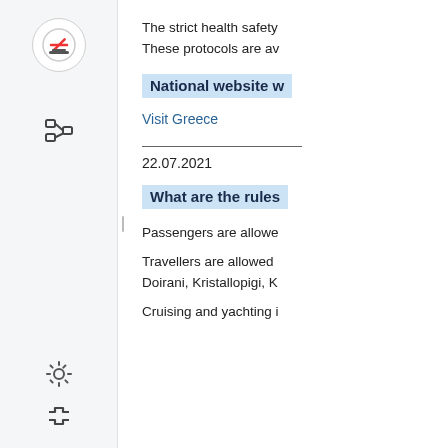The strict health safety
These protocols are av
National website w
Visit Greece
22.07.2021
What are the rules
Passengers are allowe
Travellers are allowed
Doirani, Kristallopigi, K
Cruising and yachting i